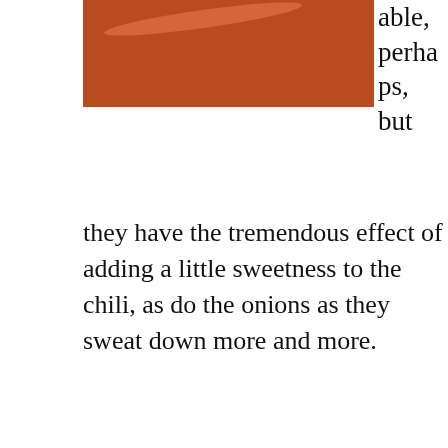[Figure (photo): Sliced orange carrots on a surface, top-down view]
able, perhaps, but they have the tremendous effect of adding a little sweetness to the chili, as do the onions as they sweat down more and more.
After the carrots, the peppers, the most tender of the vegetables, come last. Use any colour, but red and green give a
[Figure (photo): Chopped green and red bell peppers on a cutting board]